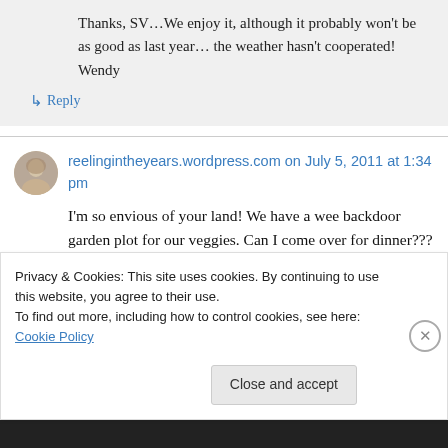Thanks, SV…We enjoy it, although it probably won't be as good as last year… the weather hasn't cooperated! Wendy
↳ Reply
reelingintheyears.wordpress.com on July 5, 2011 at 1:34 pm
I'm so envious of your land! We have a wee backdoor garden plot for our veggies. Can I come over for dinner??? It looks delish! It's been
Privacy & Cookies: This site uses cookies. By continuing to use this website, you agree to their use.
To find out more, including how to control cookies, see here: Cookie Policy
Close and accept